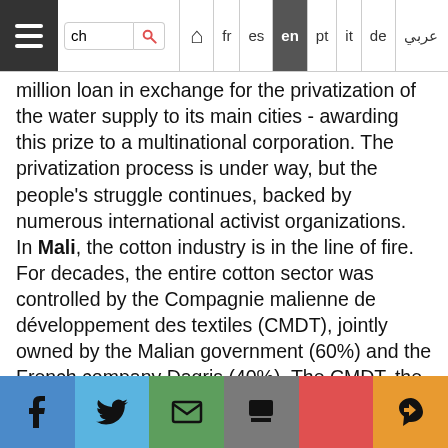Navigation bar with hamburger menu, search box, home icon, and language links: fr es en pt it de عربي
million loan in exchange for the privatization of the water supply to its main cities - awarding this prize to a multinational corporation. The privatization process is under way, but the people's struggle continues, backed by numerous international activist organizations.
In Mali, the cotton industry is in the line of fire. For decades, the entire cotton sector was controlled by the Compagnie malienne de développement des textiles (CMDT), jointly owned by the Malian government (60%) and the French company Dagris (40%). The CMDT, the real backbone of the Malian economy, was the biggest currency earner for the Malian state through profits and taxes. Its role extended beyond the mere production of cotton. It provided public services, from maintaining rural roads or eliminating illiteracy among rural communities, to the purchase of agricultural tools or the construction of vital
Social share buttons: Facebook, Twitter, Email, Print, Plus, Pinterest